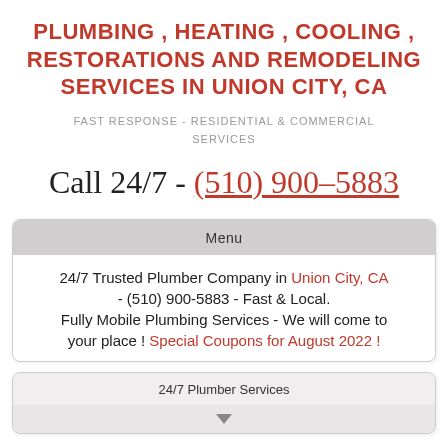PLUMBING , HEATING , COOLING , RESTORATIONS AND REMODELING SERVICES IN UNION CITY, CA
FAST RESPONSE - RESIDENTIAL & COMMERCIAL SERVICES
Call 24/7 - (510) 900-5883
Menu
24/7 Trusted Plumber Company in Union City, CA - (510) 900-5883 - Fast & Local. Fully Mobile Plumbing Services - We will come to your place ! Special Coupons for August 2022 !
24/7 Plumber Services